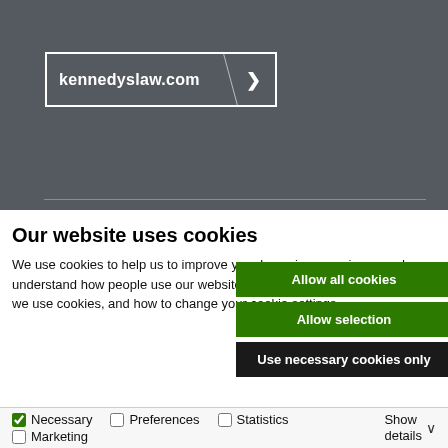[Figure (screenshot): Dark grey header area with kennedyslaw.com URL box with white border and arrow button, and a horizontal divider line at the bottom]
Our website uses cookies
We use cookies to help us to improve your browsing experience and understand how people use our website. Our privacy notice explains how we use cookies, and how to change your cookie settings.
Allow all cookies
Allow selection
Use necessary cookies only
Necessary  Preferences  Statistics  Marketing  Show details